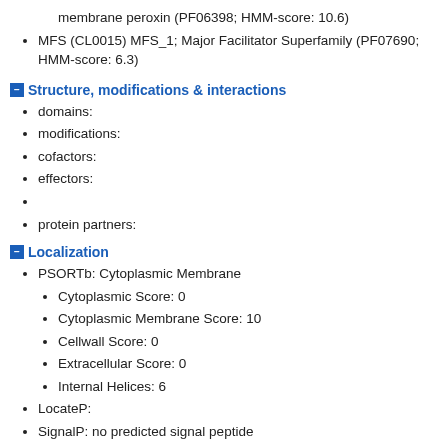membrane peroxin (PF06398; HMM-score: 10.6)
MFS (CL0015) MFS_1; Major Facilitator Superfamily (PF07690; HMM-score: 6.3)
Structure, modifications & interactions
domains:
modifications:
cofactors:
effectors:
protein partners:
Localization
PSORTb: Cytoplasmic Membrane
Cytoplasmic Score: 0
Cytoplasmic Membrane Score: 10
Cellwall Score: 0
Extracellular Score: 0
Internal Helices: 6
LocateP:
SignalP: no predicted signal peptide
SP(Sec/SPI): 0.001122
TAT(Tat/SPI): 0.000089
LIPO(Sec/SPII): 0.000412